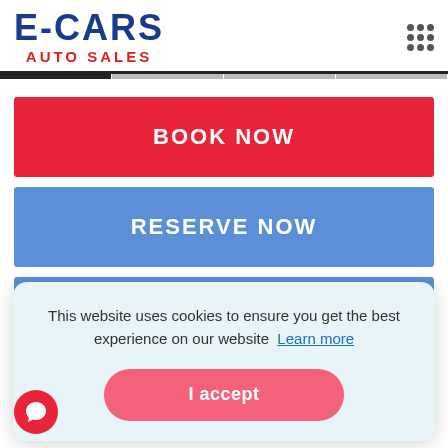[Figure (logo): E-CARS AUTO SALES logo with blue bold text 'E-CARS' and red bold text 'AUTO SALES']
BOOK NOW
RESERVE NOW
This website uses cookies to ensure you get the best experience on our website Learn more
I accept